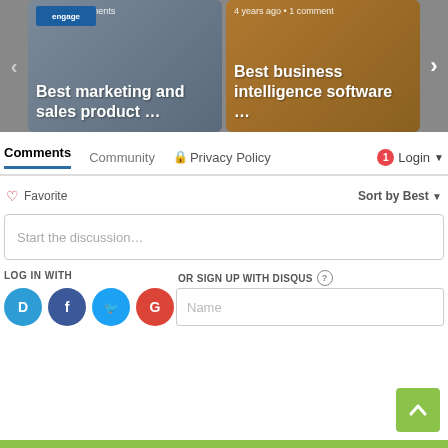[Figure (screenshot): Carousel with two article cards: 'Best marketing and sales product ...' and 'Best business intelligence software ...' with navigation arrows]
Comments  Community  Privacy Policy  Login
Favorite  Sort by Best
Start the discussion…
LOG IN WITH
OR SIGN UP WITH DISQUS
[Figure (illustration): Social login icons: Disqus (D), Facebook (f), Twitter (bird), Google (G)]
Name